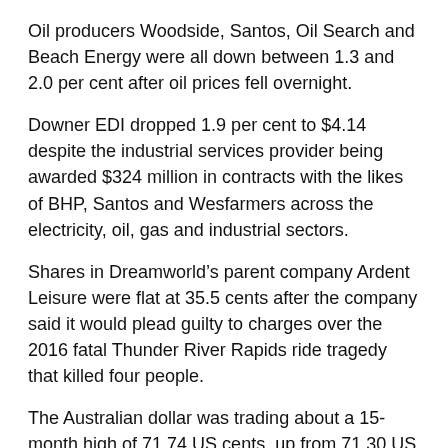Oil producers Woodside, Santos, Oil Search and Beach Energy were all down between 1.3 and 2.0 per cent after oil prices fell overnight.
Downer EDI dropped 1.9 per cent to $4.14 despite the industrial services provider being awarded $324 million in contracts with the likes of BHP, Santos and Wesfarmers across the electricity, oil, gas and industrial sectors.
Shares in Dreamworld’s parent company Ardent Leisure were flat at 35.5 cents after the company said it would plead guilty to charges over the 2016 fatal Thunder River Rapids ride tragedy that killed four people.
The Australian dollar was trading about a 15-month high of 71.74 US cents, up from 71.30 US cents at Tuesday’s close.
ON THE ASX
* The benchmark S&P/ASX200 index on